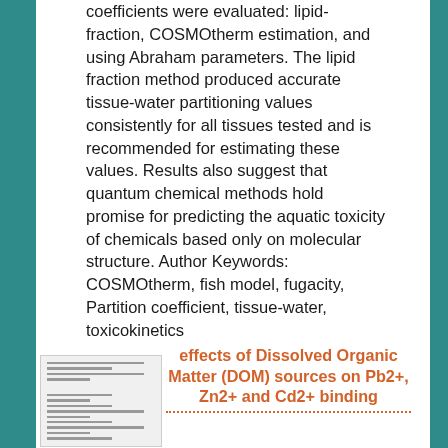coefficients were evaluated: lipid-fraction, COSMOtherm estimation, and using Abraham parameters. The lipid fraction method produced accurate tissue-water partitioning values consistently for all tissues tested and is recommended for estimating these values. Results also suggest that quantum chemical methods hold promise for predicting the aquatic toxicity of chemicals based only on molecular structure. Author Keywords: COSMOtherm, fish model, fugacity, Partition coefficient, tissue-water, toxicokinetics
[Figure (other): Small thumbnail of a scientific document or paper]
effects of Dissolved Organic Matter (DOM) sources on Pb2+, Zn2+ and Cd2+ binding
Metal binding to dissolved organic matter (DOM)